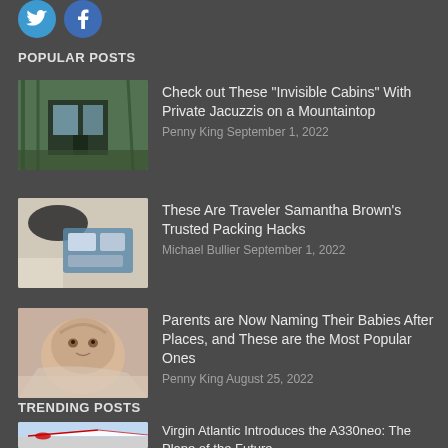[Figure (logo): Twitter and Facebook social media icon circles]
POPULAR POSTS
[Figure (photo): Exterior of a modern cabin with glass walls among trees near water]
Check out These “Invisible Cabins” With Private Jacuzzis on a Mountaintop
Penny King September 1, 2022
[Figure (photo): Open travel packing organizer with hat and travel accessories]
These Are Traveler Samantha Brown's Trusted Packing Hacks
Michael Bullier September 1, 2022
[Figure (photo): Newborn baby lying down looking at camera]
Parents are Now Naming Their Babies After Places, and These are the Most Popular Ones
Penny King August 25, 2022
TRENDING POSTS
[Figure (photo): Virgin Atlantic airplane on tarmac or in flight]
Virgin Atlantic Introduces the A330neo: The Plane of the Future